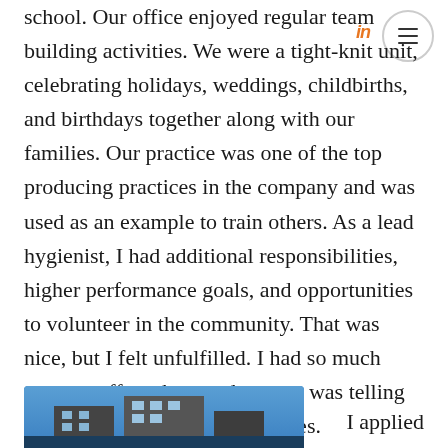school. Our office enjoyed regular team building activities. We were a tight-knit unit, celebrating holidays, weddings, childbirths, and birthdays together along with our families. Our practice was one of the top producing practices in the company and was used as an example to train others. As a lead hygienist, I had additional responsibilities, higher performance goals, and opportunities to volunteer in the community. That was nice, but I felt unfulfilled. I had so much more to offer others and my gut was telling me to seek out new opportunities.
[Figure (photo): Partial view of a building with blue sky, cropped at bottom of page]
I applied